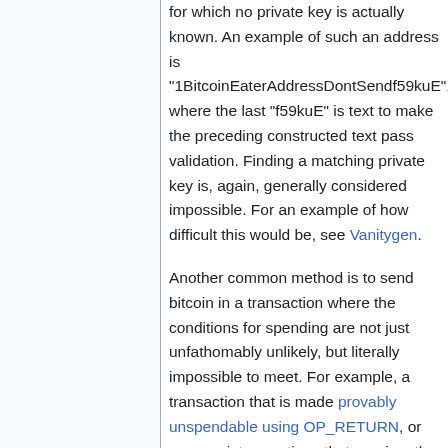for which no private key is actually known. An example of such an address is "1BitcoinEaterAddressDontSendf59kuE", where the last "f59kuE" is text to make the preceding constructed text pass validation. Finding a matching private key is, again, generally considered impossible. For an example of how difficult this would be, see Vanitygen.
Another common method is to send bitcoin in a transaction where the conditions for spending are not just unfathomably unlikely, but literally impossible to meet. For example, a transaction that is made provably unspendable using OP_RETURN, or uses script operations that requires the user to prove that 1+1 equals 3.
A lesser known method is to send bitcoin...